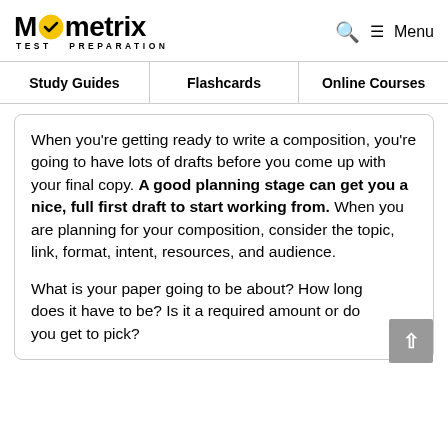Mometrix TEST PREPARATION
Study Guides | Flashcards | Online Courses
When you're getting ready to write a composition, you're going to have lots of drafts before you come up with your final copy. A good planning stage can get you a nice, full first draft to start working from. When you are planning for your composition, consider the topic, link, format, intent, resources, and audience.
What is your paper going to be about? How long does it have to be? Is it a required amount or do you get to pick?